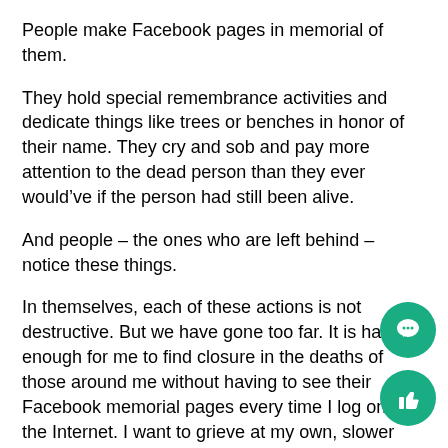People make Facebook pages in memorial of them.
They hold special remembrance activities and dedicate things like trees or benches in honor of their name. They cry and sob and pay more attention to the dead person than they ever would've if the person had still been alive.
And people – the ones who are left behind – notice these things.
In themselves, each of these actions is not destructive. But we have gone too far. It is hard enough for me to find closure in the deaths of those around me without having to see their Facebook memorial pages every time I log onto the Internet. I want to grieve at my own, slower pace without seeing an overload of memorials for those who I have los